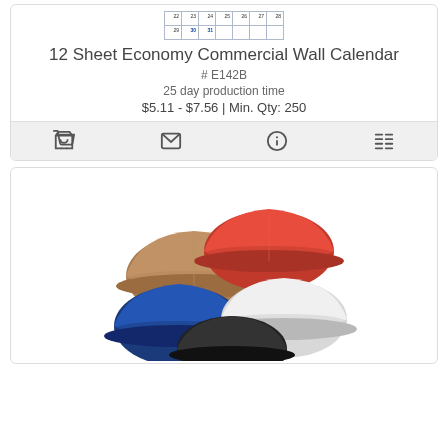[Figure (table-as-image): Small calendar thumbnail showing rows of dates 22-28 and 29-31]
12 Sheet Economy Commercial Wall Calendar
# E142B
25 day production time
$5.11 - $7.56 | Min. Qty: 250
[Figure (infographic): Icon action bar with shopping cart, envelope, info, and list icons on gray background]
[Figure (photo): Group of hard hats in various colors: brown, red, blue, black, white safety helmets]